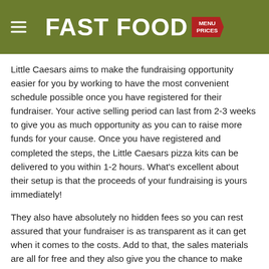FAST FOOD MENU PRICES
Little Caesars aims to make the fundraising opportunity easier for you by working to have the most convenient schedule possible once you have registered for their fundraiser. Your active selling period can last from 2-3 weeks to give you as much opportunity as you can to raise more funds for your cause. Once you have registered and completed the steps, the Little Caesars pizza kits can be delivered to you within 1-2 hours. What's excellent about their setup is that the proceeds of your fundraising is yours immediately!
They also have absolutely no hidden fees so you can rest assured that your fundraiser is as transparent as it can get when it comes to the costs. Add to that, the sales materials are all for free and they also give you the chance to make use of the tools and resources they provide online so that you can make the most out of your fundraiser and bolster its success.
Their fundraiser experts will be ready to assist you with your concerns when you call them at their toll-free number or you can